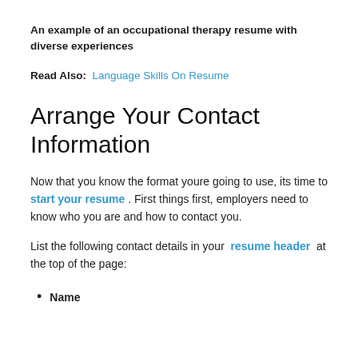An example of an occupational therapy resume with diverse experiences
Read Also:  Language Skills On Resume
Arrange Your Contact Information
Now that you know the format youre going to use, its time to start your resume . First things first, employers need to know who you are and how to contact you.
List the following contact details in your resume header at the top of the page:
Name